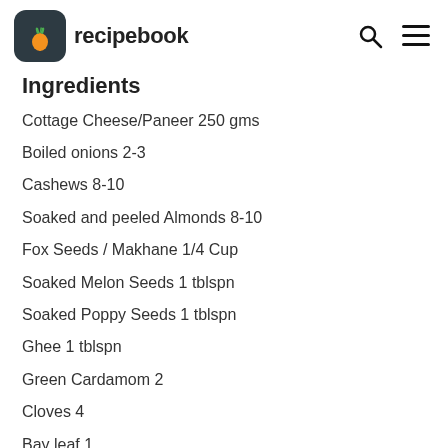recipebook
Ingredients
Cottage Cheese/Paneer 250 gms
Boiled onions 2-3
Cashews 8-10
Soaked and peeled Almonds 8-10
Fox Seeds / Makhane 1/4 Cup
Soaked Melon Seeds 1 tblspn
Soaked Poppy Seeds 1 tblspn
Ghee 1 tblspn
Green Cardamom 2
Cloves 4
Bay leaf 1
Black pepper powder 1 tsp
Salt to taste or 1 tsp
Sugar 1 tsp